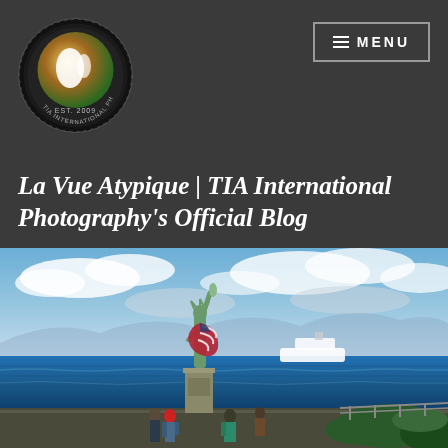[Figure (logo): TIA International Photography circular logo with globe/camera design and text 'EST. 2009']
☰ MENU
La Vue Atypique | TIA International Photography's Official Blog
[Figure (photo): Outdoor photograph of a small Statue of Liberty replica with American flag draped around it, standing on a pedestal near a waterfront. Blue ocean and cloudy sky in background, a white ship visible on the water, people standing at the base of the statue, green shrubbery in foreground right.]